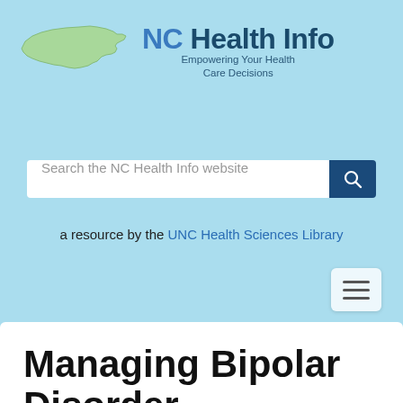[Figure (logo): NC Health Info logo with North Carolina state map outline in green and text 'NC Health Info — Empowering Your Health Care Decisions']
Search the NC Health Info website
a resource by the UNC Health Sciences Library
Managing Bipolar Disorder